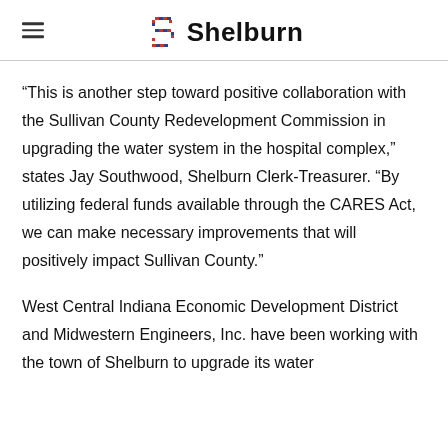Shelburn
“This is another step toward positive collaboration with the Sullivan County Redevelopment Commission in upgrading the water system in the hospital complex,” states Jay Southwood, Shelburn Clerk-Treasurer. “By utilizing federal funds available through the CARES Act, we can make necessary improvements that will positively impact Sullivan County.”
West Central Indiana Economic Development District and Midwestern Engineers, Inc. have been working with the town of Shelburn to upgrade its water